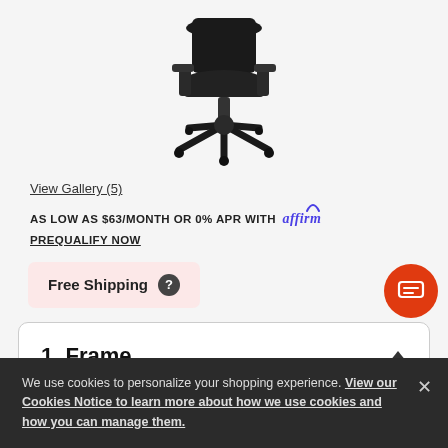[Figure (photo): Office chair product image showing black chair with base, viewed from back/side angle]
View Gallery (5)
AS LOW AS $63/MONTH OR 0% APR WITH affirm PREQUALIFY NOW
Free Shipping
1  Frame
Black / StudioWhite
We use cookies to personalize your shopping experience. View our Cookies Notice to learn more about how we use cookies and how you can manage them.